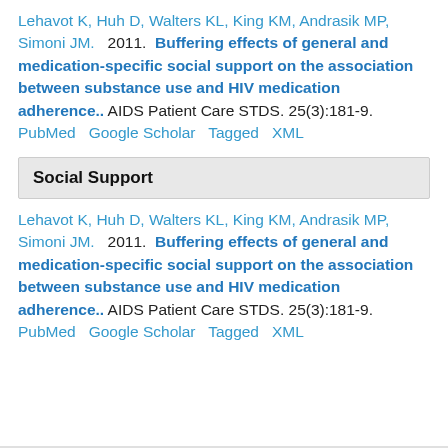Lehavot K, Huh D, Walters KL, King KM, Andrasik MP, Simoni JM. 2011. Buffering effects of general and medication-specific social support on the association between substance use and HIV medication adherence.. AIDS Patient Care STDS. 25(3):181-9. PubMed Google Scholar Tagged XML
Social Support
Lehavot K, Huh D, Walters KL, King KM, Andrasik MP, Simoni JM. 2011. Buffering effects of general and medication-specific social support on the association between substance use and HIV medication adherence.. AIDS Patient Care STDS. 25(3):181-9. PubMed Google Scholar Tagged XML